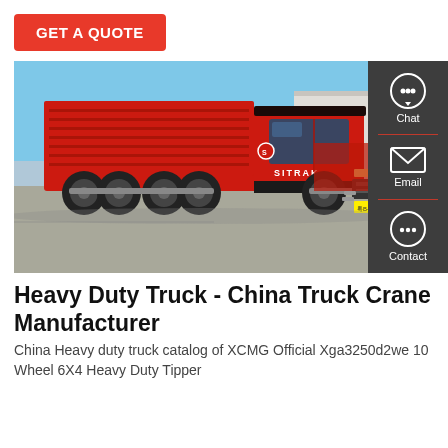GET A QUOTE
[Figure (photo): Red SITRAK heavy duty dump truck (6x4 / 10-wheel tipper) parked in an industrial yard with a clear blue sky, with sidebar showing Chat, Email, and Contact icons on the right]
Heavy Duty Truck - China Truck Crane Manufacturer
China Heavy duty truck catalog of XCMG Official Xga3250d2we 10 Wheel 6X4 Heavy Duty Tipper